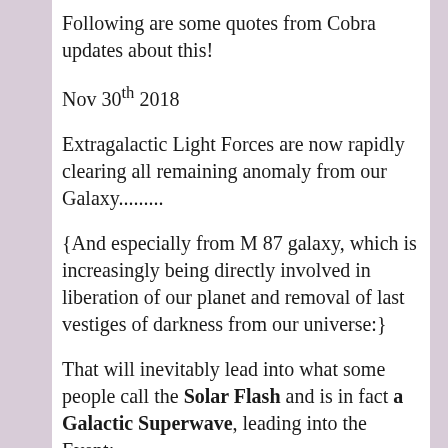Following are some quotes from Cobra updates about this!
Nov 30th 2018
Extragalactic Light Forces are now rapidly clearing all remaining anomaly from our Galaxy.........
{And especially from M 87 galaxy, which is increasingly being directly involved in liberation of our planet and removal of last vestiges of darkness from our universe:}
That will inevitably lead into what some people call the Solar Flash and is in fact a Galactic Superwave, leading into the Event:
Fifteen years ago, Charon was the main exotic weapons warehouse for Chimera / Draco /